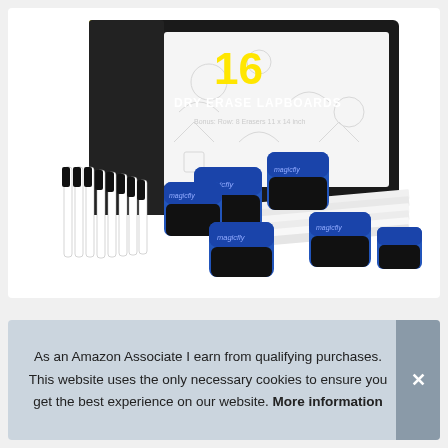[Figure (photo): Product photo of a Magicfly Dry Erase Lapboards set (16 pack) in a black box with white doodle graphics. In front of the box are multiple blue and black dry erase erasers/magnetic erasers and white dry erase markers arranged on white lapboards.]
As an Amazon Associate I earn from qualifying purchases. This website uses the only necessary cookies to ensure you get the best experience on our website. More information